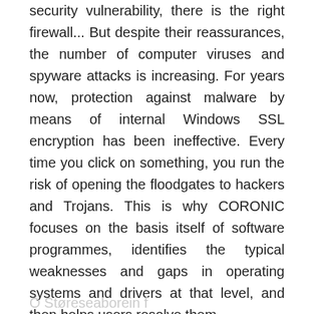security vulnerability, there is the right firewall... But despite their reassurances, the number of computer viruses and spyware attacks is increasing. For years now, protection against malware by means of internal Windows SSL encryption has been ineffective. Every time you click on something, you run the risk of opening the floodgates to hackers and Trojans. This is why CORONIC focuses on the basis itself of software programmes, identifies the typical weaknesses and gaps in operating systems and drivers at that level, and then helps users resolve them.
Ö Støreseaborein f